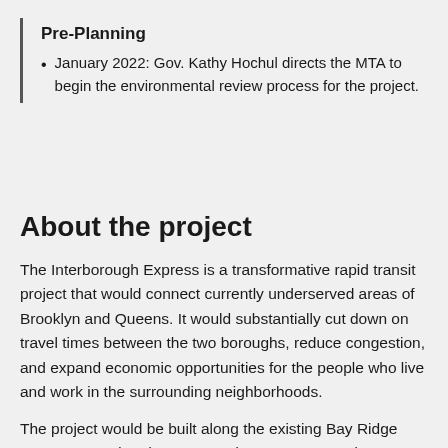Pre-Planning
January 2022: Gov. Kathy Hochul directs the MTA to begin the environmental review process for the project.
About the project
The Interborough Express is a transformative rapid transit project that would connect currently underserved areas of Brooklyn and Queens. It would substantially cut down on travel times between the two boroughs, reduce congestion, and expand economic opportunities for the people who live and work in the surrounding neighborhoods.
The project would be built along the existing Bay Ridge Connector and and CSX-owned Fremont Secondary, a 14-mile freight line that runs from Bay Ridge, Brooklyn